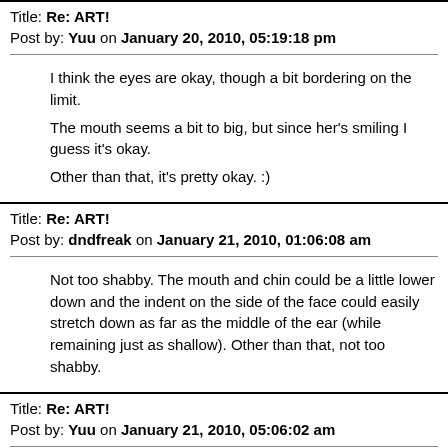Title: Re: ART!
Post by: Yuu on January 20, 2010, 05:19:18 pm
I think the eyes are okay, though a bit bordering on the limit.

The mouth seems a bit to big, but since her's smiling I guess it's okay.

Other than that, it's pretty okay. :)
Title: Re: ART!
Post by: dndfreak on January 21, 2010, 01:06:08 am
Not too shabby.  The mouth and chin could be a little lower down and the indent on the side of the face could easily stretch down as far as the middle of the ear (while remaining just as shallow).  Other than that, not too shabby.
Title: Re: ART!
Post by: Yuu on January 21, 2010, 05:06:02 am
(http://f.imagehost.org/0430/Zeth_Squad.png)

So yeah...
Title: Re: ART!
Post by: Guilmon on February 19, 2010, 05:41:48 pm